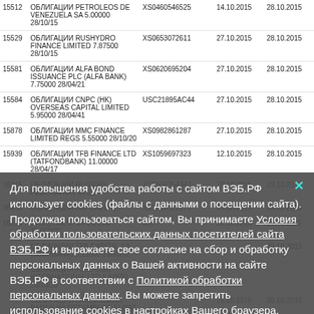| # | Название | ISIN | Дата | Дата |
| --- | --- | --- | --- | --- |
| 15512 | ОБЛИГАЦИИ PETROLEOS DE VENEZUELA SA 5.00000 28/10/15 | XS0460546525 | 14.10.2015 | 28.10.2015 |
| 15529 | ОБЛИГАЦИИ RUSHYDRO FINANCE LIMITED 7.87500 28/10/15 | XS0653072611 | 27.10.2015 | 28.10.2015 |
| 15581 | ОБЛИГАЦИИ ALFA BOND ISSUANCE PLC (ALFA BANK) 7.75000 28/04/21 | XS0620695204 | 27.10.2015 | 28.10.2015 |
| 15584 | ОБЛИГАЦИИ CNPC (HK) OVERSEAS CAPITAL LIMITED 5.95000 28/04/41 | USC21895AC44 | 27.10.2015 | 28.10.2015 |
| 15878 | ОБЛИГАЦИИ MMC FINANCE LIMITED REGS 5.55000 28/10/20 | XS0982861287 | 27.10.2015 | 28.10.2015 |
| 15939 | ОБЛИГАЦИИ TFB FINANCE LTD (TATFONDBANK) 11.00000 28/04/17 | XS1059697323 | 12.10.2015 | 28.10.2015 |
| 06015 | ОБЛИГАЦИИ RUSSIAN FEDERATION REGS | XS0504354347 | 28.10.2015 | 29.10.2015 |
| 06633 | ОБЛИГАЦИИ ... | XS1023622175 | 28.10.2015 | 29.10.2015 |
| 16576 | INVESTMENTS PLC LTD 10.00000 | XS... | 28.10.2015 | 29.10.2015 |
| ... | ОБЛИГАЦИИ TFB CAPITAL SA (SBERBANK) 5.12500 29/10/22 |  |  | 29.10.2015 |
| ... | ОБЛИГАЦИИ PJSC OGK |  |  |  |
| ... | INTERNATIONAL LTD 5.62500 29/10/20 |  |  |  |
| ... | ОБЛИГАЦИИ LANDESBANK BADEN WURTTEMBERG FLOAT 30/12/15 |  | 29.10.2015 | 30.10.2015 |
| 05677 | ОБЛИГАЦИИ LANDESBANK HESSEN- | XS0005065706 | 29.10.2015 | 30.10.2015 |
Для повышения удобства работы с сайтом ВЭБ.РФ использует cookies (файлы с данными о посещении сайта). Продолжая пользоваться сайтом, Вы принимаете Условия обработки пользовательских данных посетителей сайта ВЭБ.РФ и выражаете свое согласие на сбор и обработку персональных данных о Вашей активности на сайте ВЭБ.РФ в соответствии с Политикой обработки персональных данных. Вы можете запретить использование cookies в настройках Вашего браузера.